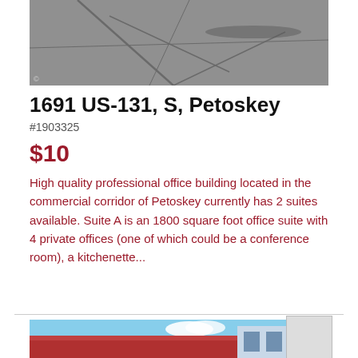[Figure (photo): Aerial/rooftop photo showing a cracked gray surface (rooftop or pavement)]
1691 US-131, S, Petoskey
#1903325
$10
High quality professional office building located in the commercial corridor of Petoskey currently has 2 suites available. Suite A is an 1800 square foot office suite with 4 private offices (one of which could be a conference room), a kitchenette...
[Figure (photo): Photo of a building with red roof/awning and blue sky with clouds]